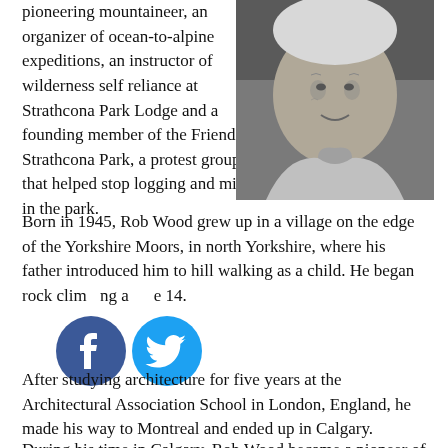pioneering mountaineer, an organizer of ocean-to-alpine expeditions, an instructor of wilderness self reliance at Strathcona Park Lodge and a founding member of the Friends of Strathcona Park, a protest group that helped stop logging and mining in the park.
[Figure (photo): Black and white photograph of an elderly man with white hair wearing a turtleneck sweater, photographed outdoors with trees in the background.]
Born in 1945, Rob Wood grew up in a village on the edge of the Yorkshire Moors, in north Yorkshire, where his father introduced him to hill walking as a child. He began rock climbing at age 14.
[Figure (other): Facebook and Twitter social media share icons]
After studying architecture for five years at the Architectural Association School in London, England, he made his way to Montreal and ended up in Calgary.
During his time in Calgary, Rob Wood became a pioneer of ice climbing and posted numerous first ascents in the Rockies during the early 1970's. He was part of a two-man team that